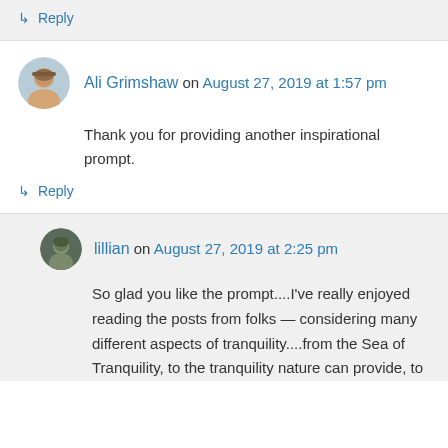↳ Reply
Ali Grimshaw on August 27, 2019 at 1:57 pm
Thank you for providing another inspirational prompt.
↳ Reply
lillian on August 27, 2019 at 2:25 pm
So glad you like the prompt....I've really enjoyed reading the posts from folks — considering many different aspects of tranquility....from the Sea of Tranquility, to the tranquility nature can provide, to